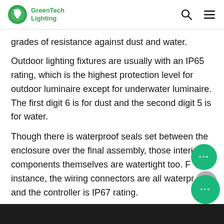GreenTech Lighting
grades of resistance against dust and water.
Outdoor lighting fixtures are usually with an IP65 rating, which is the highest protection level for outdoor luminaire except for underwater luminaire. The first digit 6 is for dust and the second digit 5 is for water.
Though there is waterproof seals set between the enclosure over the final assembly, those interior components themselves are watertight too. For instance, the wiring connectors are all waterproof, and the controller is IP67 rating.
Method
[Figure (photo): Dark image bar at the bottom of the page, partial view of a lighting fixture or related product.]